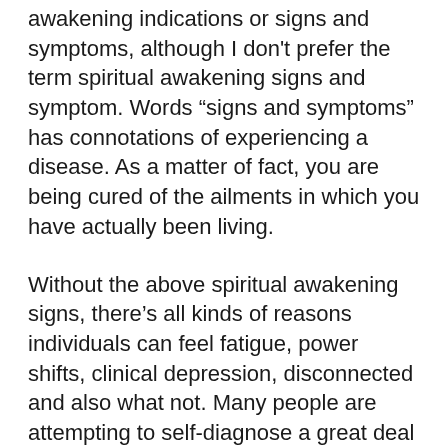awakening indications or signs and symptoms, although I don't prefer the term spiritual awakening signs and symptom. Words “signs and symptoms” has connotations of experiencing a disease. As a matter of fact, you are being cured of the ailments in which you have actually been living.
Without the above spiritual awakening signs, there’s all kinds of reasons individuals can feel fatigue, power shifts, clinical depression, disconnected and also what not. Many people are attempting to self-diagnose a great deal of concerns, and so we must be very conscious about what we “blame” on awakening. When it concerns the body discomforts and discomfort, when unsure,